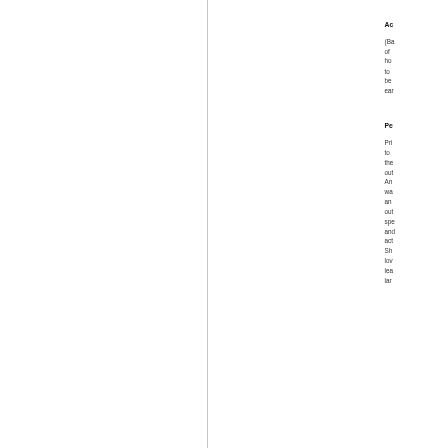Ac
(Ba of ho to be ear
Pe
Pri to the out An wa an out spe and act Sh lov lea lar